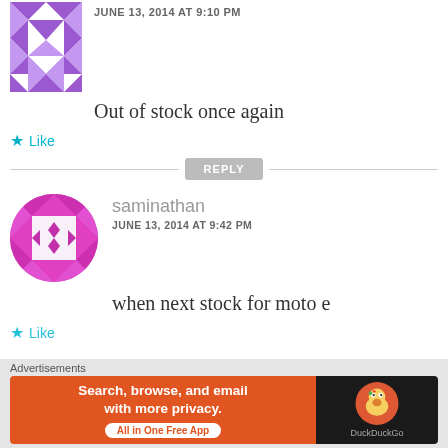[Figure (illustration): Purple mosaic/geometric avatar (partially cropped at top)]
JUNE 13, 2014 AT 9:10 PM
Out of stock once again
★ Like
REPLY
[Figure (illustration): Magenta circular mosaic avatar for saminathan]
saminathan
JUNE 13, 2014 AT 9:42 PM
when next stock for moto e
★ Like
Advertisements
[Figure (screenshot): DuckDuckGo advertisement banner: 'Search, browse, and email with more privacy. All in One Free App']